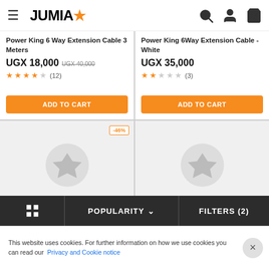JUMIA
Power King 6 Way Extension Cable 3 Meters
UGX 18,000 UGX 40,000
★★★★☆ (12)
ADD TO CART
Power King 6Way Extension Cable - White
UGX 35,000
★★☆☆☆ (3)
ADD TO CART
[Figure (illustration): Product placeholder image with star icon, -46% discount badge]
[Figure (illustration): Product placeholder image with star icon]
POPULARITY ∨   FILTERS (2)
This website uses cookies. For further information on how we use cookies you can read our Privacy and Cookie notice